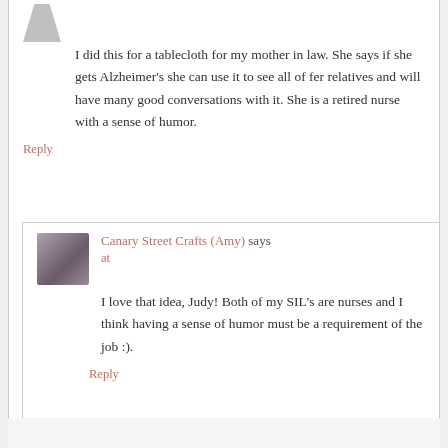I did this for a tablecloth for my mother in law. She says if she gets Alzheimer's she can use it to see all of fer relatives and will have many good conversations with it. She is a retired nurse with a sense of humor.
Reply
Canary Street Crafts (Amy) says
at
I love that idea, Judy! Both of my SIL's are nurses and I think having a sense of humor must be a requirement of the job :).
Reply